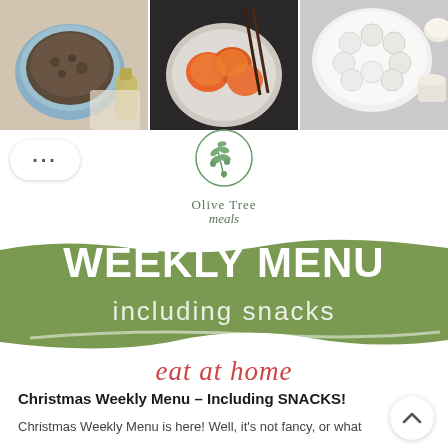[Figure (photo): Three food photos in a horizontal strip: left shows ground beef in a blue bowl with olive oil bottle, center shows orange-glazed chicken pieces on a white plate with chopsticks, right shows round white cookies/pastries on a plate with tea cups]
[Figure (logo): Olive Tree Meals logo: circular olive branch icon with text 'Olive Tree' in sans-serif and 'meals' in italic script below]
[Figure (infographic): Green olive-colored wavy banner with white bold text 'WEEKLY MENU' and lighter 'including snacks' below, with brush-stroke style shape]
eat at home
Christmas Weekly Menu – Including SNACKS!
Christmas Weekly Menu is here! Well, it's not fancy, or what